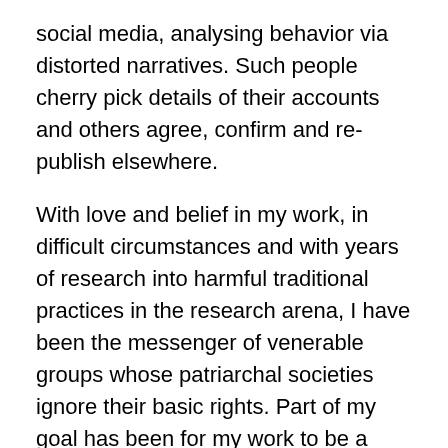social media, analysing behavior via distorted narratives. Such people cherry pick details of their accounts and others agree, confirm and re-publish elsewhere.
With love and belief in my work, in difficult circumstances and with years of research into harmful traditional practices in the research arena, I have been the messenger of venerable groups whose patriarchal societies ignore their basic rights. Part of my goal has been for my work to be a reflection of the hidden voice of these groups, and I am proud of whatever extent this has been achieved.
I will of course fully defend the positive aspects of a movement to promote these basic rights, for the least achievement of such a movement would be an increase in the level of awareness and security changing men's